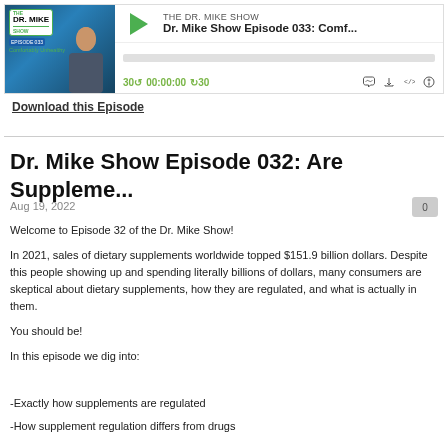[Figure (screenshot): Podcast player widget for Dr. Mike Show Episode 033, showing thumbnail image, play button, episode title, progress bar, time controls (30 back, 00:00:00, forward 30), and icons for cast, download, embed, and speed.]
Download this Episode
Dr. Mike Show Episode 032: Are Suppleme...
Aug 19, 2022
Welcome to Episode 32 of the Dr. Mike Show!
In 2021, sales of dietary supplements worldwide topped $151.9 billion dollars. Despite this people showing up and spending literally billions of dollars, many consumers are skeptical about dietary supplements, how they are regulated, and what is actually in them.
You should be!
In this episode we dig into:
-Exactly how supplements are regulated
-How supplement regulation differs from drugs